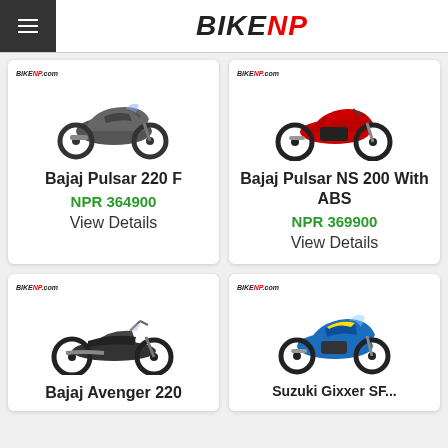BIKENP
[Figure (photo): Bajaj Pulsar 220 F motorcycle image with BIKENP.com watermark]
Bajaj Pulsar 220 F
NPR 364900
View Details
[Figure (photo): Bajaj Pulsar NS 200 With ABS motorcycle image in red/black with BIKENP.com watermark]
Bajaj Pulsar NS 200 With ABS
NPR 369900
View Details
[Figure (photo): Bajaj Avenger 220 cruiser motorcycle image with BIKENP.com watermark]
Bajaj Avenger 220
[Figure (photo): Suzuki Gixxer SF or similar blue motorcycle image with BIKENP.com watermark]